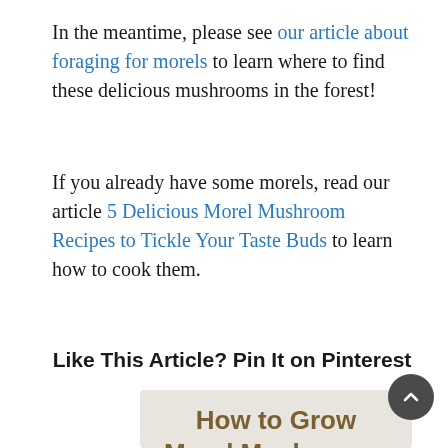In the meantime, please see our article about foraging for morels to learn where to find these delicious mushrooms in the forest!
If you already have some morels, read our article 5 Delicious Morel Mushroom Recipes to Tickle Your Taste Buds to learn how to cook them.
Like This Article? Pin It on Pinterest
[Figure (infographic): Pinterest pin card with title 'How to Grow Morel Mushrooms' over a light beige background, and below it a photo of morel mushrooms and purple flowers in a forest setting.]